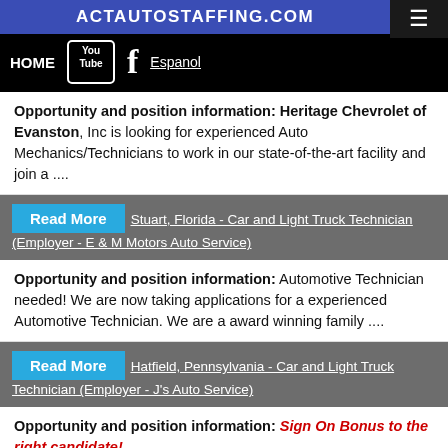ACTAUTOSTAFFING.COM
HOME  YouTube  f  Espanol
Opportunity and position information: Heritage Chevrolet of Evanston, Inc is looking for experienced Auto Mechanics/Technicians to work in our state-of-the-art facility and join a ....
Read More   Stuart, Florida - Car and Light Truck Technician (Employer - E & M Motors Auto Service)
Opportunity and position information: Automotive Technician needed! We are now taking applications for a experienced Automotive Technician. We are a award winning family ....
Read More   Hatfield, Pennsylvania - Car and Light Truck Technician (Employer - J's Auto Service)
Opportunity and position information: Sign On Bonus to the right candidate! ....